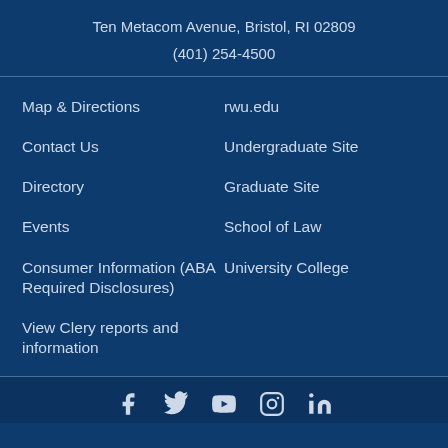Ten Metacom Avenue, Bristol, RI 02809
(401) 254-4500
Map & Directions
rwu.edu
Contact Us
Undergraduate Site
Directory
Graduate Site
Events
School of Law
Consumer Information (ABA Required Disclosures)
University College
View Clery reports and information
[Figure (other): Social media icons row: Facebook, Twitter, YouTube, Instagram, and another icon]